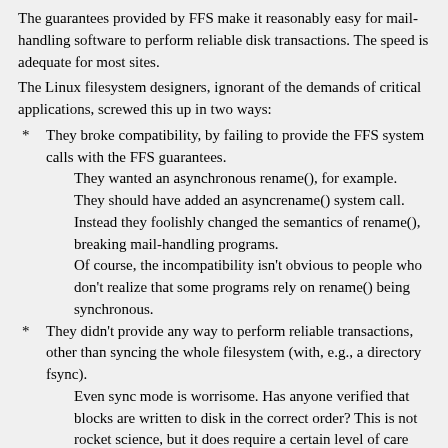The guarantees provided by FFS make it reasonably easy for mail-handling software to perform reliable disk transactions. The speed is adequate for most sites.
The Linux filesystem designers, ignorant of the demands of critical applications, screwed this up in two ways:
* They broke compatibility, by failing to provide the FFS system calls with the FFS guarantees.
They wanted an asynchronous rename(), for example. They should have added an asyncrename() system call. Instead they foolishly changed the semantics of rename(), breaking mail-handling programs.
Of course, the incompatibility isn't obvious to people who don't realize that some programs rely on rename() being synchronous.
* They didn't provide any way to perform reliable transactions, other than syncing the whole filesystem (with, e.g., a directory fsync).
Even sync mode is worrisome. Has anyone verified that blocks are written to disk in the correct order? This is not rocket science, but it does require a certain level of care with every operation.
Supposedly there's a faster transaction mechanism now, but I don't trust it. Do the people writing the filesystem code understand that there _is_ a correct order for block writes?
The situation since then has become even worse. Filesystem reliability has gone down the tubes: users are regularly suffering data corruption, even when there _isn't_ a crash. There are at least four different filesystem transaction interfaces.
I'm reorganizing most of my create-one-file programs to use a generic